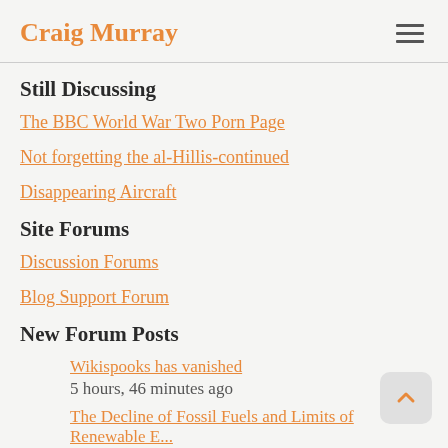Craig Murray
Still Discussing
The BBC World War Two Porn Page
Not forgetting the al-Hillis-continued
Disappearing Aircraft
Site Forums
Discussion Forums
Blog Support Forum
New Forum Posts
Wikispooks has vanished
5 hours, 46 minutes ago
The Decline of Fossil Fuels and Limits of Renewable E...